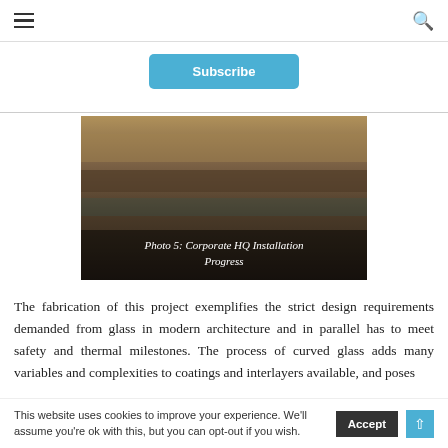≡   🔍
Subscribe
[Figure (photo): Photo of a corporate building exterior showing architectural glass panels and structural elements. Overlay text reads: Photo 5: Corporate HQ Installation Progress]
Photo 5: Corporate HQ Installation Progress
The fabrication of this project exemplifies the strict design requirements demanded from glass in modern architecture and in parallel has to meet safety and thermal milestones. The process of curved glass adds many variables and complexities to coatings and interlayers available, and poses
This website uses cookies to improve your experience. We'll assume you're ok with this, but you can opt-out if you wish.